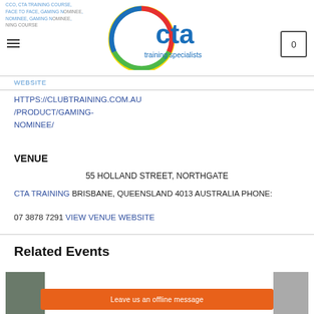CTA Training Specialists header with navigation
CCO, CTA TRAINING COURSE, FACE TO FACE, GAMING NOMINEE, GAMING NOMINEE, TRAINING COURSE
WEBSITE
HTTPS://CLUBTRAINING.COM.AU/PRODUCT/GAMING-NOMINEE/
VENUE
55 HOLLAND STREET, NORTHGATE
CTA TRAINING BRISBANE, QUEENSLAND 4013 AUSTRALIA PHONE:
07 3878 7291 VIEW VENUE WEBSITE
Related Events
Leave us an offline message